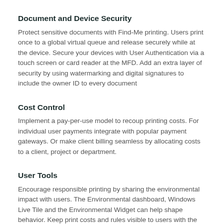Document and Device Security
Protect sensitive documents with Find-Me printing. Users print once to a global virtual queue and release securely while at the device. Secure your devices with User Authentication via a touch screen or card reader at the MFD. Add an extra layer of security by using watermarking and digital signatures to include the owner ID to every document
Cost Control
Implement a pay-per-use model to recoup printing costs. For individual user payments integrate with popular payment gateways. Or make client billing seamless by allocating costs to a client, project or department.
User Tools
Encourage responsible printing by sharing the environmental impact with users. The Environmental dashboard, Windows Live Tile and the Environmental Widget can help shape behavior. Keep print costs and rules visible to users with the desktop Client Tool. Allow users to print from their web browser or mobile device as well as release documents securely at the